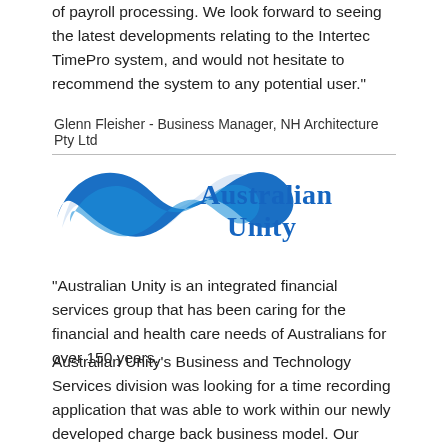of payroll processing. We look forward to seeing the latest developments relating to the Intertec TimePro system, and would not hesitate to recommend the system to any potential user."
Glenn Fleisher - Business Manager, NH Architecture Pty Ltd
[Figure (logo): Australian Unity logo — blue wave swoosh on left with 'Australian Unity' text in blue bold serif font on right]
"Australian Unity is an integrated financial services group that has been caring for the financial and health care needs of Australians for over 150 years.
Australian Unity's Business and Technology Services division was looking for a time recording application that was able to work within our newly developed charge back business model. Our stringent reporting needs demanded an application that could be both efficient in capturing staff effort and provide an organised reporting structure.